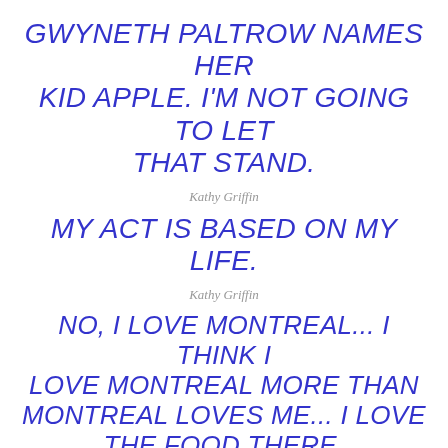GWYNETH PALTROW NAMES HER KID APPLE. I’M NOT GOING TO LET THAT STAND.
Kathy Griffin
MY ACT IS BASED ON MY LIFE.
Kathy Griffin
NO, I LOVE MONTREAL… I THINK I LOVE MONTREAL MORE THAN MONTREAL LOVES ME… I LOVE THE FOOD THERE.